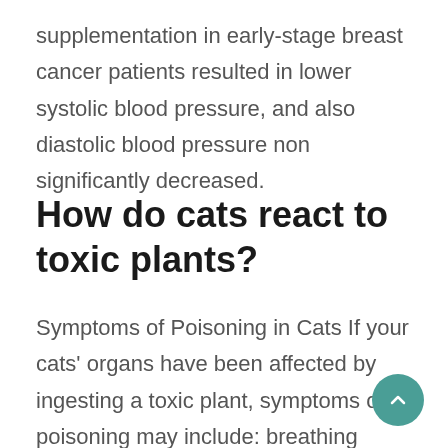supplementation in early-stage breast cancer patients resulted in lower systolic blood pressure, and also diastolic blood pressure non significantly decreased.
How do cats react to toxic plants?
Symptoms of Poisoning in Cats If your cats' organs have been affected by ingesting a toxic plant, symptoms of poisoning may include: breathing